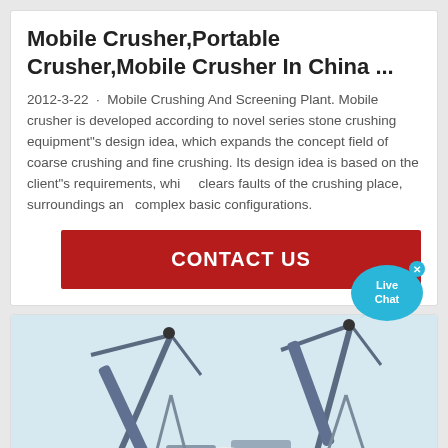Mobile Crusher,Portable Crusher,Mobile Crusher In China ...
2012-3-22 · Mobile Crushing And Screening Plant. Mobile crusher is developed according to novel series stone crushing equipment"s design idea, which expands the concept field of coarse crushing and fine crushing. Its design idea is based on the client"s requirements, which clears faults of the crushing place, surroundings and complex basic configurations.
[Figure (other): Red CONTACT US button]
[Figure (photo): Industrial cranes or conveyor structures against a light sky background]